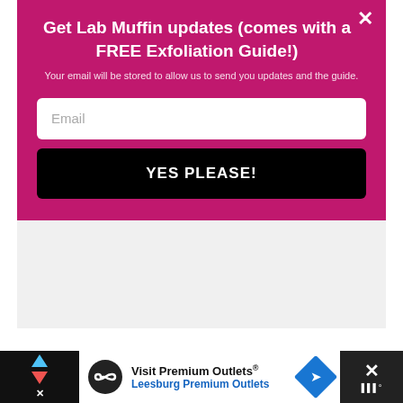Get Lab Muffin updates (comes with a FREE Exfoliation Guide!)
Your email will be stored to allow us to send you updates and the guide.
Email
YES PLEASE!
Review, Skincare, Video
[Figure (screenshot): Advertisement banner for Visit Premium Outlets - Leesburg Premium Outlets with logo, navigation arrows, and close button]